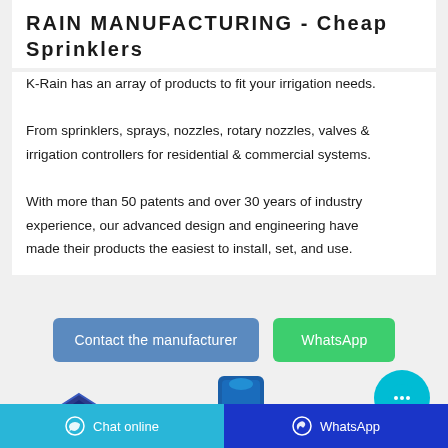RAIN MANUFACTURING - Cheap Sprinklers
K-Rain has an array of products to fit your irrigation needs. From sprinklers, sprays, nozzles, rotary nozzles, valves & irrigation controllers for residential & commercial systems. With more than 50 patents and over 30 years of industry experience, our advanced design and engineering have made their products the easiest to install, set, and use.
[Figure (screenshot): Two call-to-action buttons: 'Contact the manufacturer' (blue/steel) and 'WhatsApp' (green)]
[Figure (screenshot): Circular cyan chat bubble icon with ellipsis (…) symbol]
[Figure (photo): K-Rain brand logo badge in shield/pin shape with blue background]
[Figure (photo): K-Rain sprinkler product in tall blue packaging, partially visible]
Chat online   WhatsApp